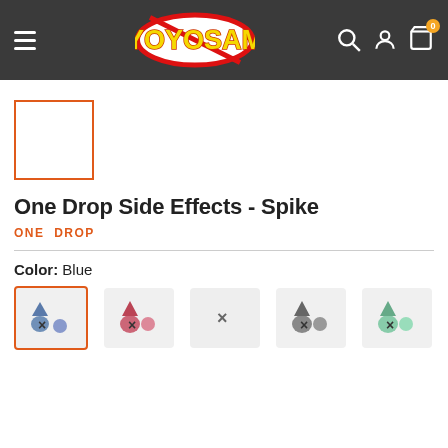[Figure (logo): YoYoSam logo in yellow bold text inside a red oval with white background, on a dark gray navigation header bar with hamburger menu icon on left and search, user, cart icons on the right. Cart has orange badge showing 0.]
[Figure (other): Orange-bordered empty thumbnail placeholder box]
One Drop Side Effects - Spike
ONE DROP
Color: Blue
[Figure (other): Row of 5 color option swatches for yoyo side effects. First swatch (Blue) is selected with orange border, showing blue/gray spike yoyo pieces. Second shows pink/red pieces. Third shows a gray X only. Fourth shows gray pieces. Fifth shows green/teal pieces.]